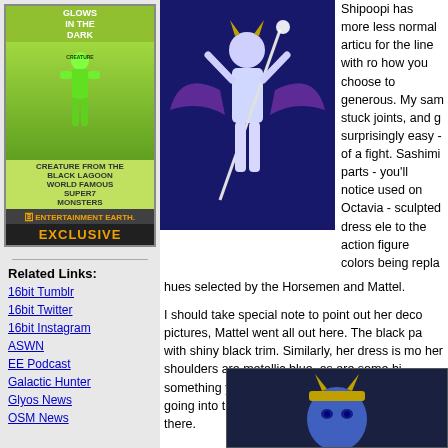[Figure (photo): Green glowing action figure toy in packaging - Entertainment Earth Exclusive Super7 Monsters]
GLOWS IN THE DARK
ENTERTAINMENT EARTH EXCLUSIVE
Related Links:
16bit Tumblr
16bit Twitter
16bit Instagram
ASWN
EE Podcast
Galactic Hunter
Glyos News
OSM News
[Figure (photo): Action figure of a winged blue female character holding a staff, photographed under blue/UV lighting against dark background]
Shipoopi has more less normal articu for the line with ro how you choose to generous. My sam stuck joints, and g surprisingly easy - of a fight. Sashimi parts - you'll notice used on Octavia - sculpted dress ele to the action figure colors being repla hues selected by the Horsemen and Mattel.
I should take special note to point out her deco pictures, Mattel went all out here. The black pa with shiny black trim. Similarly, her dress is mo her shoulders are metallic blue, as are some hi something you'd notice if they left out, so it's ob going into the paint on this particular release. A there.
[Figure (photo): Close-up photo of blue-skinned action figure face with gold horned helmet]